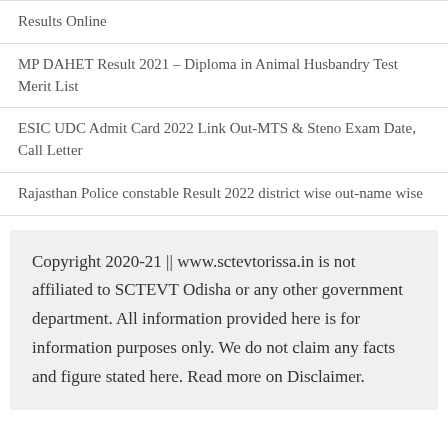Results Online
MP DAHET Result 2021 – Diploma in Animal Husbandry Test Merit List
ESIC UDC Admit Card 2022 Link Out-MTS & Steno Exam Date, Call Letter
Rajasthan Police constable Result 2022 district wise out-name wise
Copyright 2020-21 || www.sctevtorissa.in is not affiliated to SCTEVT Odisha or any other government department. All information provided here is for information purposes only. We do not claim any facts and figure stated here. Read more on Disclaimer.